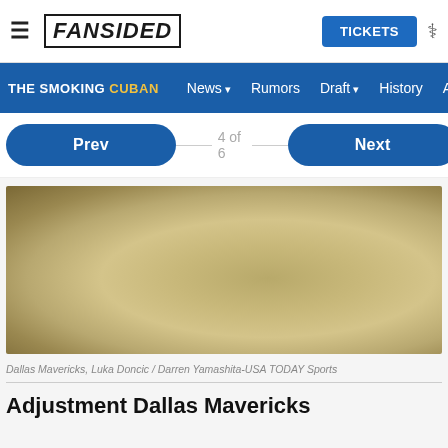FanSided — TICKETS
THE SMOKING CUBAN | News | Rumors | Draft | History | Al
Prev   4 of 6   Next
[Figure (photo): Blurred basketball-court photo placeholder, golden/tan tones — Dallas Mavericks, Luka Doncic]
Dallas Mavericks, Luka Doncic / Darren Yamashita-USA TODAY Sports
Adjustment Dallas Mavericks